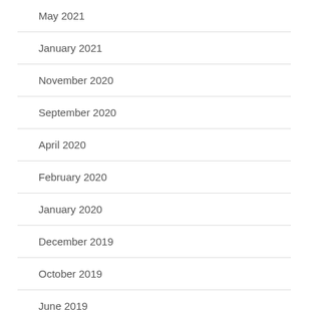May 2021
January 2021
November 2020
September 2020
April 2020
February 2020
January 2020
December 2019
October 2019
June 2019
April 2019